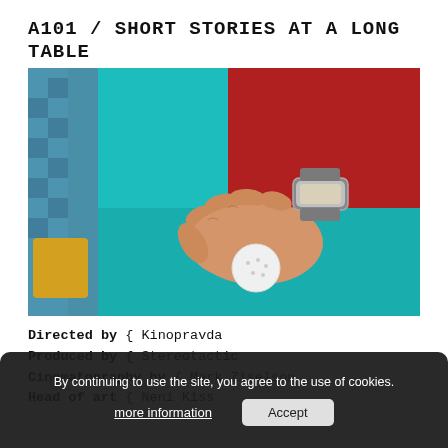A101 / SHORT STORIES AT A LONG TABLE
[Figure (photo): A hand wearing a silver watch, dressed in a red sleeve, holding a white golf ball against a teal/turquoise table surface. Another person in a blue checkered shirt is partially visible on the left.]
Directed by { Kinopravda
Produced by { Stereotactic
Cinematography by { Mark Ziselson
Head of art { Neni Kiss
By continuing to use the site, you agree to the use of cookies.
more information
Accept